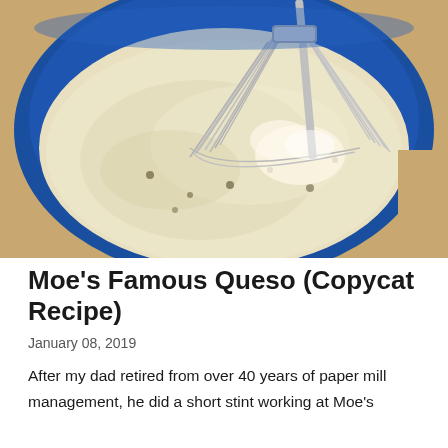[Figure (photo): A blue bowl containing a creamy white queso dip being whisked with a metal whisk. The mixture appears smooth and slightly chunky. The bowl is on a wooden surface.]
Moe's Famous Queso (Copycat Recipe)
January 08, 2019
After my dad retired from over 40 years of paper mill management, he did a short stint working at Moe's